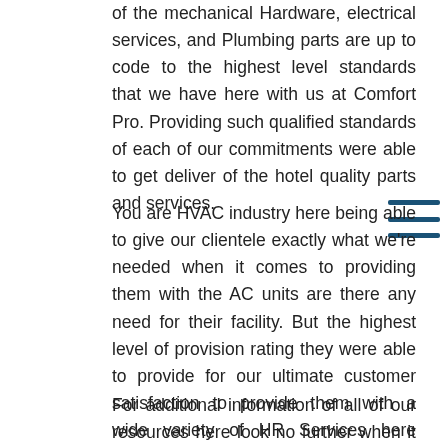of the mechanical Hardware, electrical services, and Plumbing parts are up to code to the highest level standards that we have here with us at Comfort Pro. Providing such qualified standards of each of our commitments were able to get deliver of the hotel quality parts and services.
You are HVAC industry here being able to give our clientele exactly what we're needed when it comes to providing them with the AC units are there any need for their facility. But the highest level of provision rating they were able to provide for our ultimate customer satisfaction to provide them with a wide variety of HR Services here today.
For additional information of all of our resources here look no further when it comes to comfort Pro to be a service for you visit us online here today at Comfort Pro inc.com. You can also give us a call today to speak with one of our technicians to get you on the books